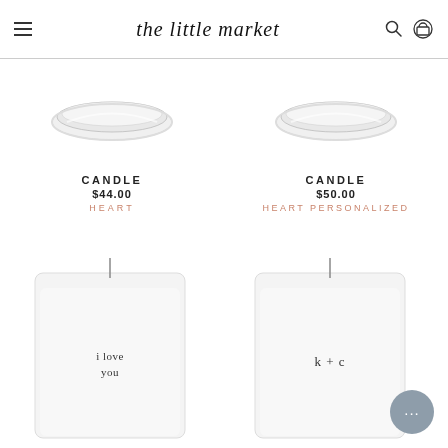the little market
[Figure (photo): Top-down view of a clear glass candle lid/jar on white background - left product]
CANDLE
$44.00
HEART
[Figure (photo): Top-down view of a clear glass candle lid/jar on white background - right product]
CANDLE
$50.00
HEART PERSONALIZED
[Figure (photo): White candle jar with label reading 'i love you' on white background]
[Figure (photo): White candle jar with label reading 'k + c' on white background]